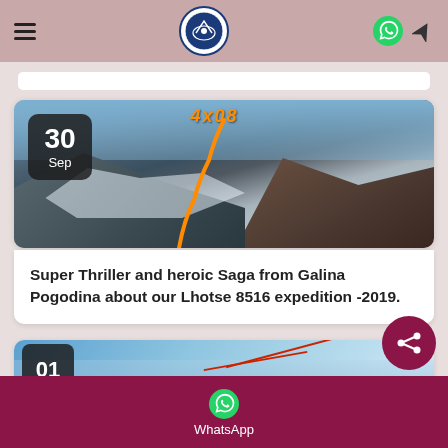Navigation header with hamburger menu, logo, WhatsApp icon, and location arrow
[Figure (photo): Mountain expedition photo showing snowy Lhotse peak with an orange route line marked on it, with date badge showing 30 Sep]
Super Thriller and heroic Saga from Galina Pogodina about our Lhotse 8516 expedition -2019.
[Figure (photo): Partial second article card showing date 01 and a snowy mountain aerial photo]
WhatsApp